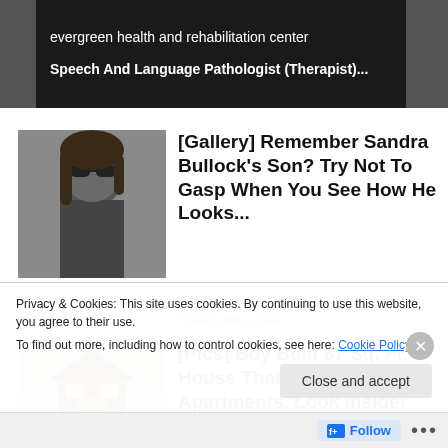[Figure (screenshot): Dark banner showing job listing: 'evergreen health and rehabilitation center' and 'Speech And Language Pathologist (Therapist)...']
[Gallery] Remember Sandra Bullock's Son? Try Not To Gasp When You See How He Looks...
Travel Like A Star
[Figure (photo): Photo of a woman wearing sunglasses]
[Pics] Boy Built 87 Sq. Ft. House That Outdoes Most Apartments. Look Inside!
[Figure (photo): Photo of a small wooden house in snow]
Privacy & Cookies: This site uses cookies. By continuing to use this website, you agree to their use.
To find out more, including how to control cookies, see here: Cookie Policy
Close and accept
Follow